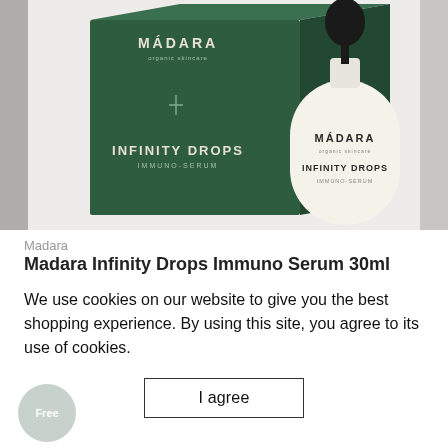[Figure (photo): Product photo of Mádara Infinity Drops Immuno-Serum 30ml. A dark green rectangular box labeled MÁDARA organic skincare and INFINITY DROPS IMMUNO-SERUM sits on the left. A white glass dropper bottle with a black cap labeled MÁDARA organic skincare INFINITY DROPS IMMUNO-SERUM stands on the right. Background is light grey.]
Madara
Madara Infinity Drops Immuno Serum 30ml
We use cookies on our website to give you the best shopping experience. By using this site, you agree to its use of cookies.
I agree
Free